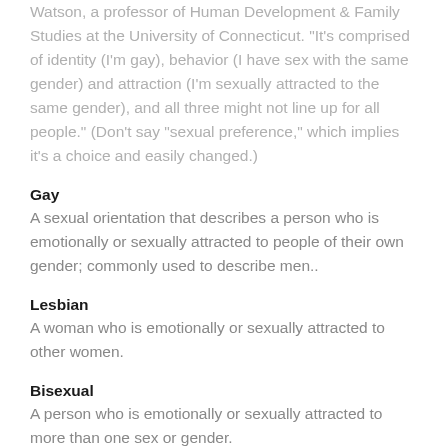Watson, a professor of Human Development & Family Studies at the University of Connecticut. "It's comprised of identity (I'm gay), behavior (I have sex with the same gender) and attraction (I'm sexually attracted to the same gender), and all three might not line up for all people." (Don't say "sexual preference," which implies it's a choice and easily changed.)
Gay
A sexual orientation that describes a person who is emotionally or sexually attracted to people of their own gender; commonly used to describe men..
Lesbian
A woman who is emotionally or sexually attracted to other women.
Bisexual
A person who is emotionally or sexually attracted to more than one sex or gender.